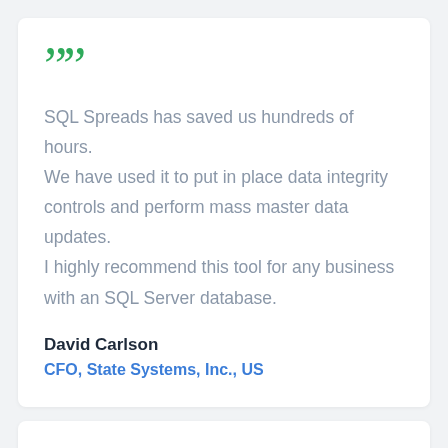““ SQL Spreads has saved us hundreds of hours. We have used it to put in place data integrity controls and perform mass master data updates. I highly recommend this tool for any business with an SQL Server database.
David Carlson
CFO, State Systems, Inc., US
““ A simple and robust method for entering data